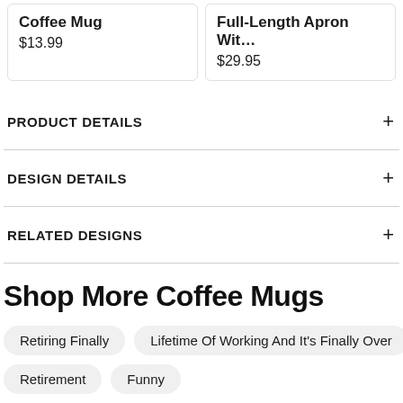Coffee Mug
$13.99
Full-Length Apron Wit…
$29.95
PRODUCT DETAILS
DESIGN DETAILS
RELATED DESIGNS
Shop More Coffee Mugs
Retiring Finally
Lifetime Of Working And It's Finally Over
Retirement
Funny
Customer Revi...